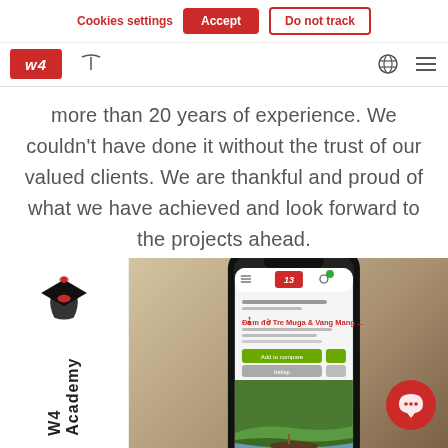Cookies settings | Accept | Do not track
[Figure (screenshot): W4 website navigation bar with red W4 logo, search icon, globe icon, and menu icon]
more than 20 years of experience. We couldn't have done it without the trust of our valued clients. We are thankful and proud of what we have achieved and look forward to the projects ahead.
[Figure (screenshot): Sidebar with graduation cap icon and W4 Academy label rotated vertically, beside a photo of a hand holding a smartphone displaying a travel website with a boat on a river]
[Figure (illustration): Red circular chat bubble button in bottom right corner]